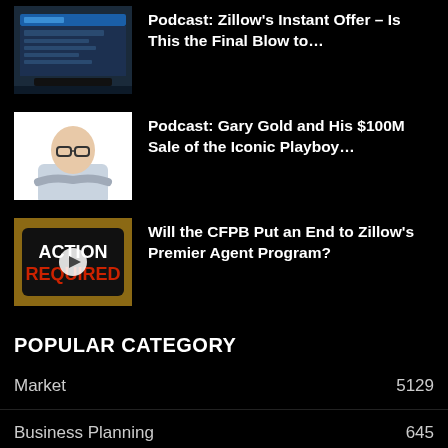[Figure (screenshot): Laptop displaying a website with a blue header]
Podcast: Zillow's Instant Offer – Is This the Final Blow to…
[Figure (photo): Man with glasses and arms crossed against white background]
Podcast: Gary Gold and His $100M Sale of the Iconic Playboy…
[Figure (photo): Hand holding phone showing ACTION REQUIRED text with play button overlay]
Will the CFPB Put an End to Zillow's Premier Agent Program?
POPULAR CATEGORY
Market 5129
Business Planning 645
Mindset & Motivation 563
Top Producers 266